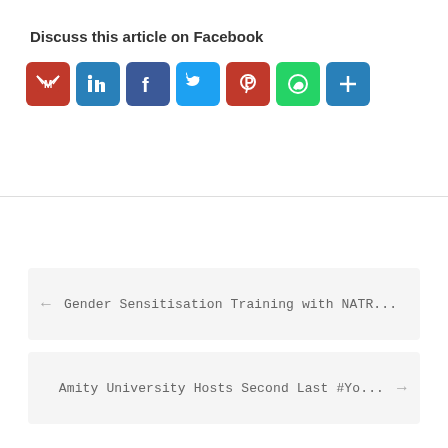Discuss this article on Facebook
[Figure (infographic): Social media share icons: Gmail, LinkedIn, Facebook, Twitter, Pinterest, WhatsApp, Share (plus)]
← Gender Sensitisation Training with NATR...
Amity University Hosts Second Last #Yo... →